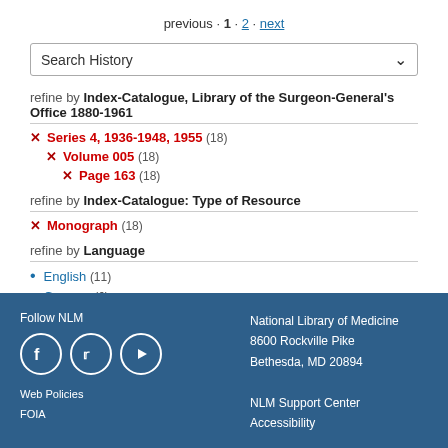previous · 1 · 2 · next
Search History
refine by Index-Catalogue, Library of the Surgeon-General's Office 1880-1961
× Series 4, 1936-1948, 1955 (18)
× Volume 005 (18)
× Page 163 (18)
refine by Index-Catalogue: Type of Resource
× Monograph (18)
refine by Language
English (11)
German (6)
French (1)
Follow NLM | National Library of Medicine 8600 Rockville Pike Bethesda, MD 20894 | Web Policies | FOIA | NLM Support Center | Accessibility